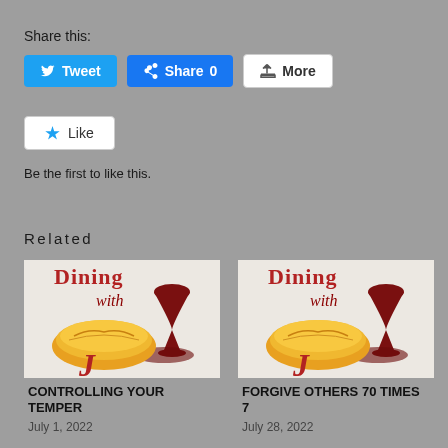Share this:
[Figure (screenshot): Share buttons: Tweet (Twitter/blue), Share 0 (Facebook/blue), More (white with share icon)]
[Figure (screenshot): Like button (white, star icon) with text 'Be the first to like this.']
Be the first to like this.
Related
[Figure (illustration): Dining with Jesus logo — bread loaf, wine glass, red cursive text]
CONTROLLING YOUR TEMPER
July 1, 2022
[Figure (illustration): Dining with Jesus logo — bread loaf, wine glass, red cursive text]
FORGIVE OTHERS 70 TIMES 7
July 28, 2022